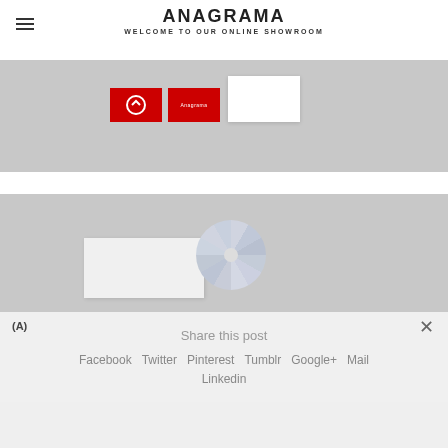ANAGRAMA
WELCOME TO OUR ONLINE SHOWROOM
[Figure (photo): Product branding photo showing two red cards with logo and a white business card on grey background]
[Figure (photo): Product photo showing a white envelope/sleeve and a CD disc on grey background]
(A)
×
Share this post
Facebook  Twitter  Pinterest  Tumblr  Google+  Mail
Linkedin
[Figure (photo): Partial product photo on grey background at bottom of page]